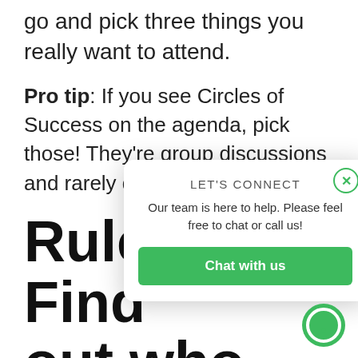go and pick three things you really want to attend.
Pro tip: If you see Circles of Success on the agenda, pick those! They're group discussions and rarely disappoint.
Rule 6. Find out who to meet... at the event
Ask around (i.e. customers, partners,
[Figure (infographic): LET'S CONNECT popup dialog with chat button and close X button. Title: LET'S CONNECT. Body: Our team is here to help. Please feel free to chat or call us! Button: Chat with us (green). Green circle chat icon at bottom right.]